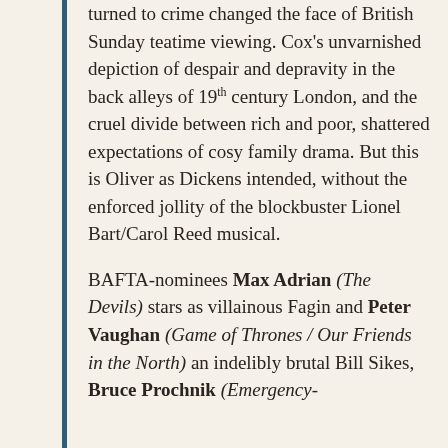turned to crime changed the face of British Sunday teatime viewing. Cox's unvarnished depiction of despair and depravity in the back alleys of 19th century London, and the cruel divide between rich and poor, shattered expectations of cosy family drama. But this is Oliver as Dickens intended, without the enforced jollity of the blockbuster Lionel Bart/Carol Reed musical.
BAFTA-nominees Max Adrian (The Devils) stars as villainous Fagin and Peter Vaughan (Game of Thrones / Our Friends in the North) an indelibly brutal Bill Sikes, Bruce Prochnik (Emergency-